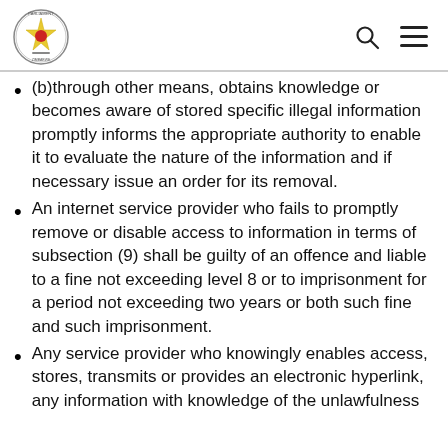Parliament of Zimbabwe logo with search and menu icons
(b)through other means, obtains knowledge or becomes aware of stored specific illegal information promptly informs the appropriate authority to enable it to evaluate the nature of the information and if necessary issue an order for its removal.
An internet service provider who fails to promptly remove or disable access to information in terms of subsection (9) shall be guilty of an offence and liable to a fine not exceeding level 8 or to imprisonment for a period not exceeding two years or both such fine and such imprisonment.
Any service provider who knowingly enables access, stores, transmits or provides an electronic hyperlink, any information with knowledge of the unlawfulness